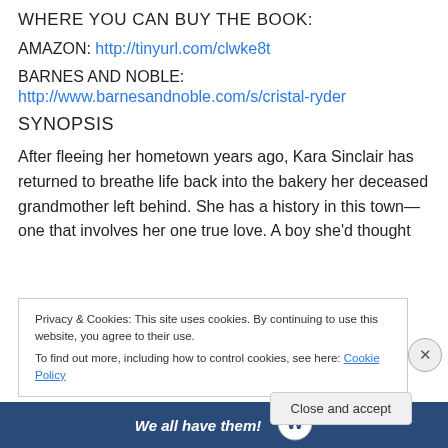WHERE YOU CAN BUY THE BOOK:
AMAZON: http://tinyurl.com/clwke8t
BARNES AND NOBLE:
http://www.barnesandnoble.com/s/cristal-ryder
SYNOPSIS
After fleeing her hometown years ago, Kara Sinclair has returned to breathe life back into the bakery her deceased grandmother left behind. She has a history in this town—one that involves her one true love. A boy she'd thought
Privacy & Cookies: This site uses cookies. By continuing to use this website, you agree to their use.
To find out more, including how to control cookies, see here: Cookie Policy
Close and accept
We all have them!